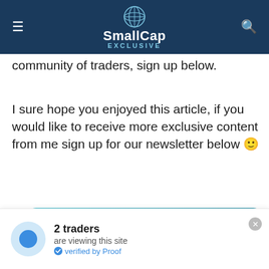SmallCap EXCLUSIVE
community of traders, sign up below.
I sure hope you enjoyed this article, if you would like to receive more exclusive content from me sign up for our newsletter below 🙂
[Figure (infographic): Teal/blue banner with bold white text reading: Delivering Breakout Stock Alerts | 100% FREE Direct to Your Inbox, with a polygonal bear graphic on the right side]
2 traders are viewing this site · verified by Proof